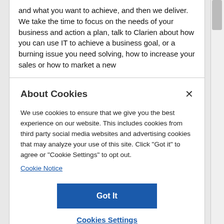and what you want to achieve, and then we deliver. We take the time to focus on the needs of your business and action a plan, talk to Clarien about how you can use IT to achieve a business goal, or a burning issue you need solving, how to increase your sales or how to market a new
About Cookies
We use cookies to ensure that we give you the best experience on our website. This includes cookies from third party social media websites and advertising cookies that may analyze your use of this site. Click "Got it" to agree or "Cookie Settings" to opt out.
Cookie Notice
Got It
Cookies Settings